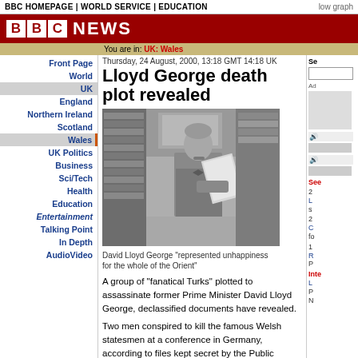BBC HOMEPAGE | WORLD SERVICE | EDUCATION
[Figure (logo): BBC News logo - red background with BBC boxes and NEWS text in white]
You are in: UK: Wales
Thursday, 24 August, 2000, 13:18 GMT 14:18 UK
Lloyd George death plot revealed
[Figure (photo): Black and white photo of David Lloyd George standing reading papers, with bookshelves and fireplace behind him]
David Lloyd George "represented unhappiness for the whole of the Orient"
A group of "fanatical Turks" plotted to assassinate former Prime Minister David Lloyd George, declassified documents have revealed.
Two men conspired to kill the famous Welsh statesmen at a conference in Germany, according to files kept secret by the Public Records Office for 80